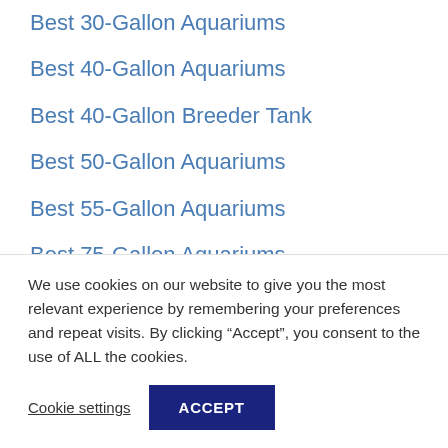Best 30-Gallon Aquariums
Best 40-Gallon Aquariums
Best 40-Gallon Breeder Tank
Best 50-Gallon Aquariums
Best 55-Gallon Aquariums
Best 75-Gallon Aquariums
Best 75-Gallon Aquarium Stands
Best 90-Gallon Aquariums
Best 100-Gallon Aquariums
We use cookies on our website to give you the most relevant experience by remembering your preferences and repeat visits. By clicking “Accept”, you consent to the use of ALL the cookies.
Cookie settings | ACCEPT